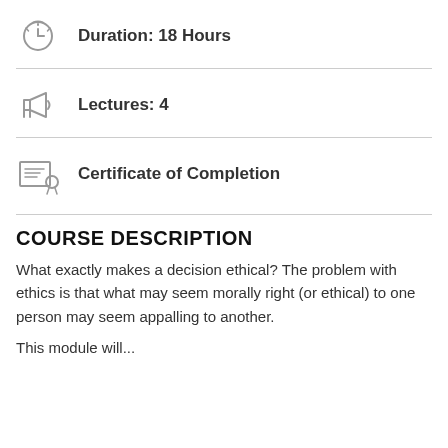Duration: 18 Hours
Lectures: 4
Certificate of Completion
COURSE DESCRIPTION
What exactly makes a decision ethical? The problem with ethics is that what may seem morally right (or ethical) to one person may seem appalling to another.
This module will...